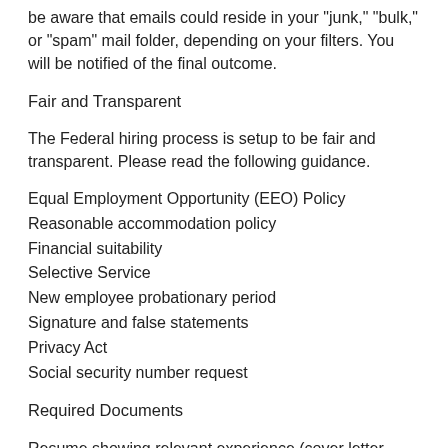be aware that emails could reside in your "junk," "bulk," or "spam" mail folder, depending on your filters. You will be notified of the final outcome.
Fair and Transparent
The Federal hiring process is setup to be fair and transparent. Please read the following guidance.
Equal Employment Opportunity (EEO) Policy
Reasonable accommodation policy
Financial suitability
Selective Service
New employee probationary period
Signature and false statements
Privacy Act
Social security number request
Required Documents
Resume showing relevant experience (cover letter optional);
Unofficial transcript (if qualifying based on education): Veterans' Preference Documentation (DD-214, VA Letter, and SF-15 if claiming 10-point preference; DD-214 if